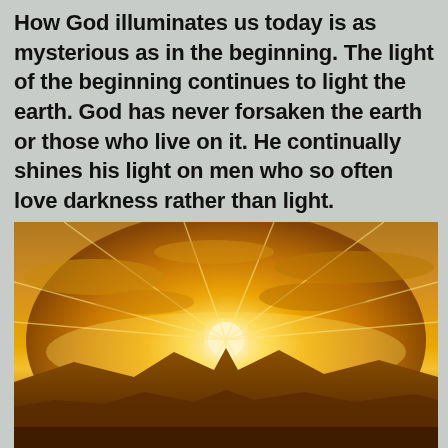How God illuminates us today is as mysterious as in the beginning. The light of the beginning continues to light the earth. God has never forsaken the earth or those who live on it. He continually shines his light on men who so often love darkness rather than light.
[Figure (photo): A dramatic golden sunrise or sunset with brilliant rays of light bursting from the horizon over silhouetted mountains, with golden clouds in the sky.]